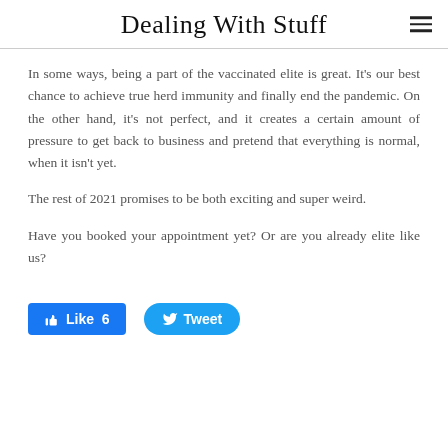Dealing With Stuff
In some ways, being a part of the vaccinated elite is great. It's our best chance to achieve true herd immunity and finally end the pandemic. On the other hand, it's not perfect, and it creates a certain amount of pressure to get back to business and pretend that everything is normal, when it isn't yet.
The rest of 2021 promises to be both exciting and super weird.
Have you booked your appointment yet? Or are you already elite like us?
[Figure (other): Facebook Like button showing 6 likes and a Twitter Tweet button]